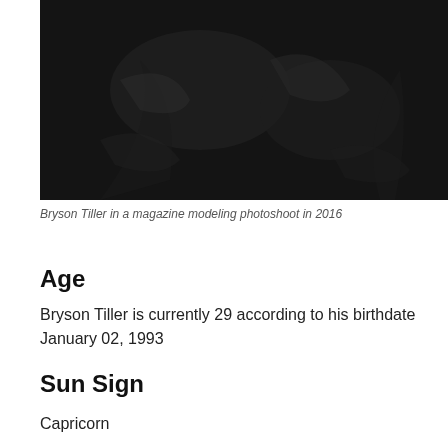[Figure (photo): Bryson Tiller in a dark jacket/bomber jacket, magazine modeling photoshoot, dark background]
Bryson Tiller in a magazine modeling photoshoot in 2016
Age
Bryson Tiller is currently 29 according to his birthdate January 02, 1993
Sun Sign
Capricorn